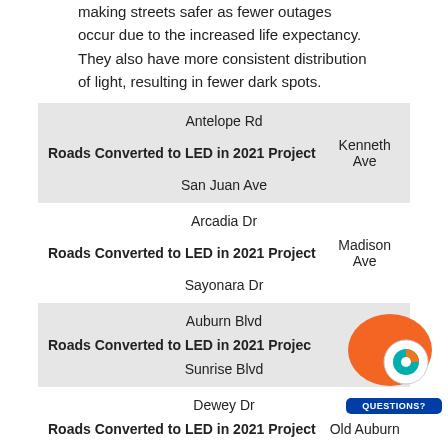making streets safer as fewer outages occur due to the increased life expectancy. They also have more consistent distribution of light, resulting in fewer dark spots.
| Antelope Rd |
| Roads Converted to LED in 2021 Project | Kenneth Ave |
| San Juan Ave |
| Arcadia Dr |
| Roads Converted to LED in 2021 Project | Madison Ave |
| Sayonara Dr |
| Auburn Blvd |
| Roads Converted to LED in 2021 Project | [ave] |
| Sunrise Blvd |
| Dewey Dr |
| Roads Converted to LED in 2021 Project | Old Auburn |
[Figure (logo): Orange speech bubble with a circular logo icon and 'QUESTIONS?' text in a blue rounded rectangle badge]